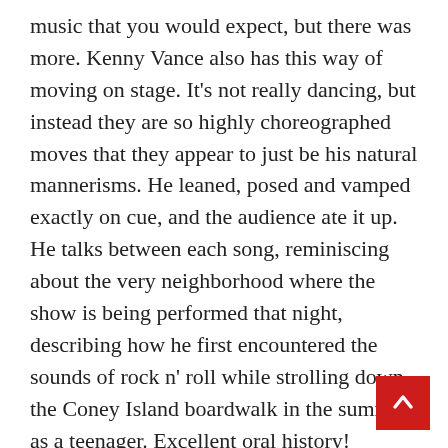music that you would expect, but there was more. Kenny Vance also has this way of moving on stage. It's not really dancing, but instead they are so highly choreographed moves that they appear to just be his natural mannerisms. He leaned, posed and vamped exactly on cue, and the audience ate it up. He talks between each song, reminiscing about the very neighborhood where the show is being performed that night, describing how he first encountered the sounds of rock n' roll while strolling down the Coney Island boardwalk in the summer as a teenager. Excellent oral history!
Then all of the sudden, I heard that all too familiar greasy low down bass, that stank azz nasty single pluck of the guitar then the chopsticks on piano I said to myself, "Oh sh*t, these dudes ain't badd